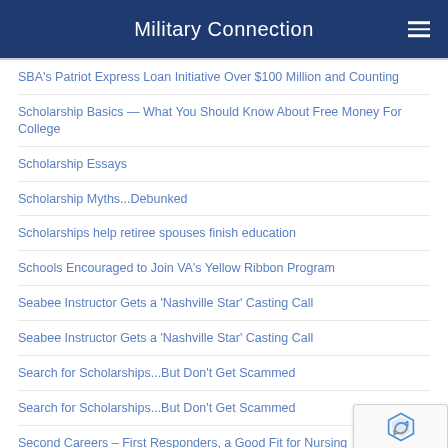Military Connection
SBA's Patriot Express Loan Initiative Over $100 Million and Counting
Scholarship Basics — What You Should Know About Free Money For College
Scholarship Essays
Scholarship Myths...Debunked
Scholarships help retiree spouses finish education
Schools Encouraged to Join VA's Yellow Ribbon Program
Seabee Instructor Gets a 'Nashville Star' Casting Call
Seabee Instructor Gets a 'Nashville Star' Casting Call
Search for Scholarships...But Don't Get Scammed
Search for Scholarships...But Don't Get Scammed
Second Careers – First Responders, a Good Fit for Nursing